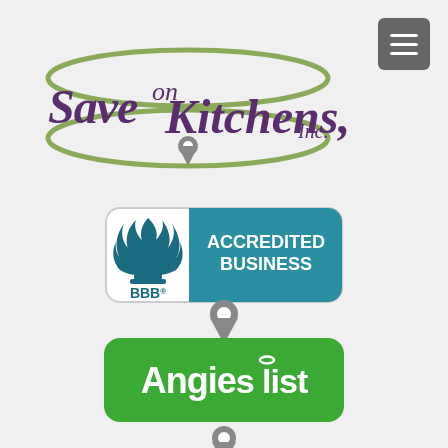[Figure (logo): Save on Kitchens, Inc. logo with cursive purple text and green swoosh oval surrounding the text, with a location pin icon below center]
[Figure (logo): BBB Accredited Business badge with teal background and white text reading ACCREDITED BUSINESS, BBB logo on left side]
[Figure (logo): Location pin icon in gray]
[Figure (logo): Angie's list badge with green rounded rectangle background and white text reading Angies list with halo above the i]
[Figure (logo): Location pin icon in gray at bottom of page]